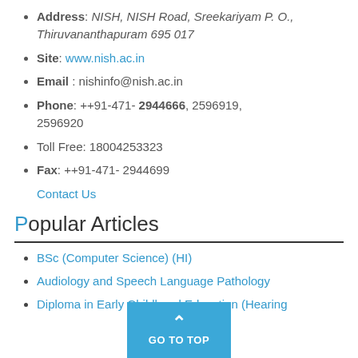Address: NISH, NISH Road, Sreekariyam P. O., Thiruvananthapuram 695 017
Site: www.nish.ac.in
Email : nishinfo@nish.ac.in
Phone: ++91-471- 2944666, 2596919, 2596920
Toll Free: 18004253323
Fax: ++91-471- 2944699
Contact Us
Popular Articles
BSc (Computer Science) (HI)
Audiology and Speech Language Pathology
Diploma in Early Childhood Education (Hearing Impairment)